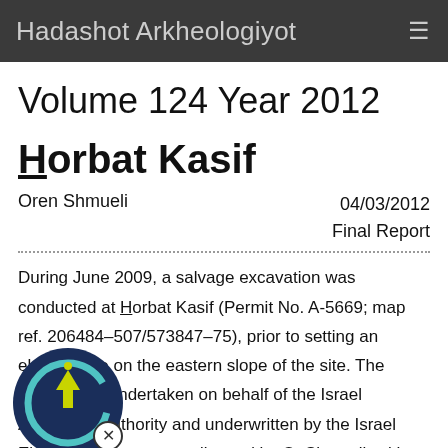Hadashot Arkheologiyot
Volume 124 Year 2012
Horbat Kasif
Oren Shmueli
04/03/2012
Final Report
During June 2009, a salvage excavation was conducted at Horbat Kasif (Permit No. A-5669; map ref. 206484–507/573847–75), prior to setting an electric pole on the eastern slope of the site. The excavation, undertaken on behalf of the Israel Antiquities Authority and underwritten by the Israel Electric Company, was directed by O. Shmueli, with the assistance of Y. Lender (administration).